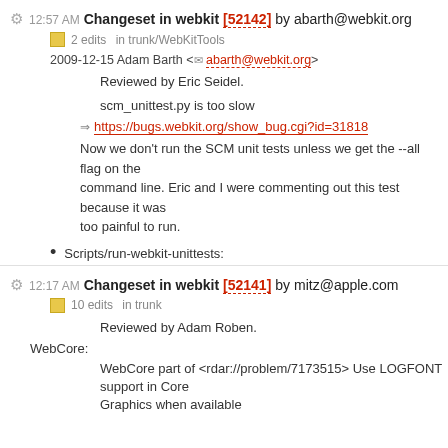12:57 AM Changeset in webkit [52142] by abarth@webkit.org
2 edits in trunk/WebKitTools
2009-12-15 Adam Barth <abarth@webkit.org>
Reviewed by Eric Seidel.
scm_unittest.py is too slow
https://bugs.webkit.org/show_bug.cgi?id=31818
Now we don't run the SCM unit tests unless we get the --all flag on the command line. Eric and I were commenting out this test because it was too painful to run.
Scripts/run-webkit-unittests:
12:17 AM Changeset in webkit [52141] by mitz@apple.com
10 edits in trunk
Reviewed by Adam Roben.
WebCore:
WebCore part of <rdar://problem/7173515> Use LOGFONT support in Core Graphics when available